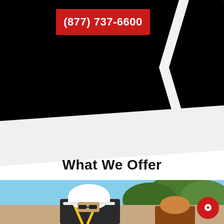[Figure (photo): Black background section with a red button showing phone number (877) 737-6600 and a white arrow/chevron graphic on the right side]
(877) 737-6600
What We Offer
[Figure (photo): Photo of a construction worker wearing a white hard hat and yellow safety harness, taken outdoors with blue sky and green trees in background]